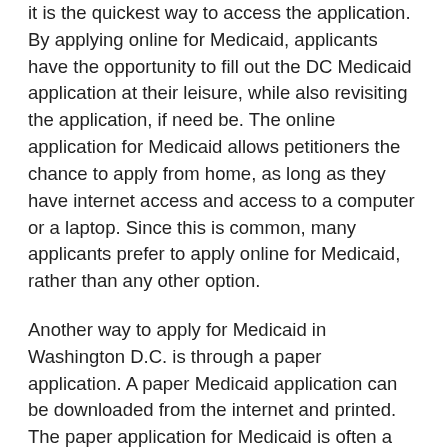it is the quickest way to access the application. By applying online for Medicaid, applicants have the opportunity to fill out the DC Medicaid application at their leisure, while also revisiting the application, if need be. The online application for Medicaid allows petitioners the chance to apply from home, as long as they have internet access and access to a computer or a laptop. Since this is common, many applicants prefer to apply online for Medicaid, rather than any other option.
Another way to apply for Medicaid in Washington D.C. is through a paper application. A paper Medicaid application can be downloaded from the internet and printed. The paper application for Medicaid is often a popular choice, because it can be returned in a variety of ways: by mail, by fax or in person. If an applicant completes the Medicaid application form, and wishes to mail the completed and signed form back, he or she can send it to: